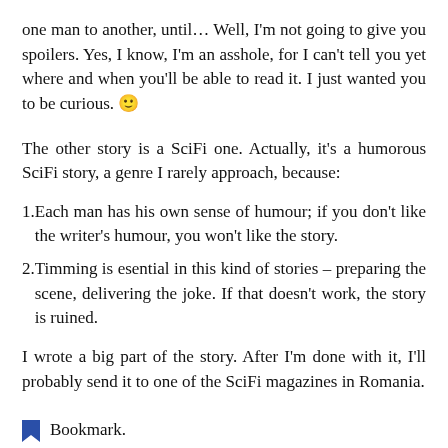one man to another, until… Well, I'm not going to give you spoilers. Yes, I know, I'm an asshole, for I can't tell you yet where and when you'll be able to read it. I just wanted you to be curious. 🙂
The other story is a SciFi one. Actually, it's a humorous SciFi story, a genre I rarely approach, because:
Each man has his own sense of humour; if you don't like the writer's humour, you won't like the story.
Timming is esential in this kind of stories – preparing the scene, delivering the joke. If that doesn't work, the story is ruined.
I wrote a big part of the story. After I'm done with it, I'll probably send it to one of the SciFi magazines in Romania.
Bookmark.